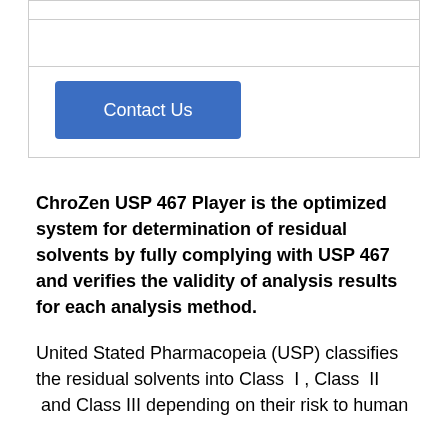[Figure (other): A box with horizontal lines and a blue 'Contact Us' button]
ChroZen USP 467 Player is the optimized system for determination of residual solvents by fully complying with USP 467 and verifies the validity of analysis results for each analysis method.
United Stated Pharmacopeia (USP) classifies the residual solvents into Class I , Class II and Class III depending on their risk to human